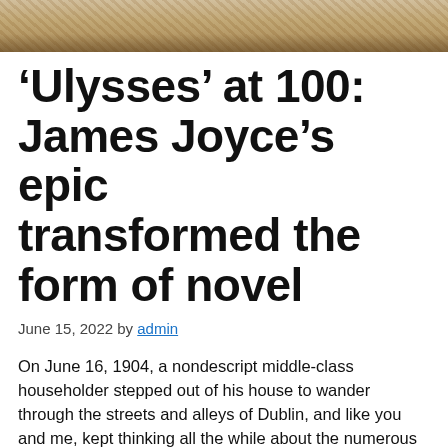[Figure (photo): Partial top image showing what appears to be a wooden or book-related texture/object, cropped at the top of the page.]
‘Ulysses’ at 100: James Joyce’s epic transformed the form of novel
June 15, 2022 by admin
On June 16, 1904, a nondescript middle-class householder stepped out of his house to wander through the streets and alleys of Dublin, and like you and me, kept thinking all the while about the numerous issues that